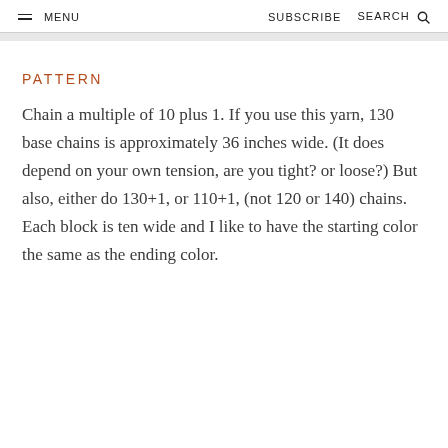MENU   SUBSCRIBE   SEARCH
PATTERN
Chain a multiple of 10 plus 1. If you use this yarn, 130 base chains is approximately 36 inches wide. (It does depend on your own tension, are you tight? or loose?) But also, either do 130+1, or 110+1, (not 120 or 140) chains. Each block is ten wide and I like to have the starting color the same as the ending color.